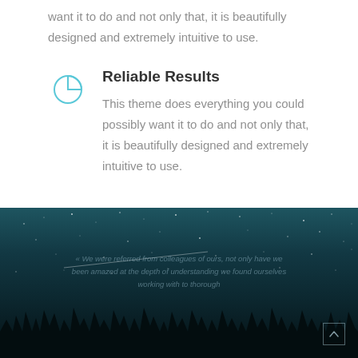want it to do and not only that, it is beautifully designed and extremely intuitive to use.
Reliable Results
This theme does everything you could possibly want it to do and not only that, it is beautifully designed and extremely intuitive to use.
[Figure (photo): Night sky with stars and silhouetted pine trees at bottom, dark teal/navy background with scattered white stars and a light streak, faded italic testimonial text overlay in center]
« We were referred from colleagues of ours, not only have we been amazed at the depth of understanding we found ourselves working with to thorough